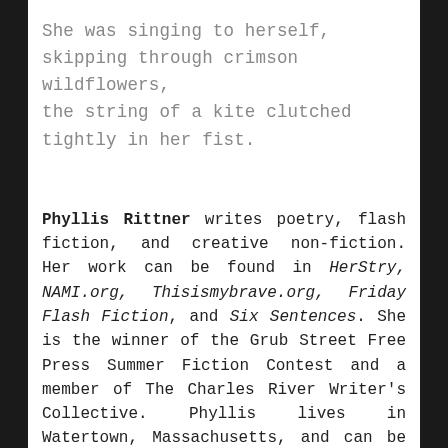She was singing to herself,
skipping through crimson wildflowers,
the string of a kite clutched tightly in her fist.
Phyllis Rittner writes poetry, flash fiction, and creative non-fiction. Her work can be found in HerStry, NAMI.org, Thisismybrave.org, Friday Flash Fiction, and Six Sentences. She is the winner of the Grub Street Free Press Summer Fiction Contest and a member of The Charles River Writer's Collective. Phyllis lives in Watertown, Massachusetts, and can be reached on Facebook at https://www.facebook.com/phyllis.rittner.